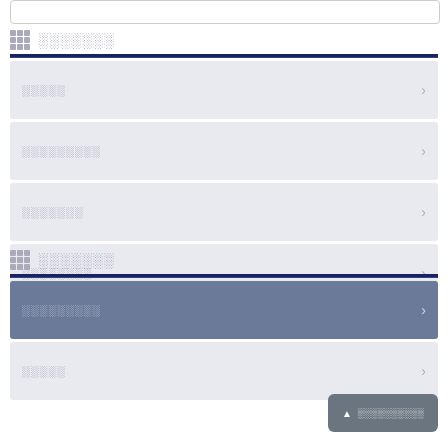░░░░░░░
░░░░░
░░░░░░░░░
░░░░░░░
░░░░░░░░
░░░░░░░
░░░░░░░░░
░░░░░